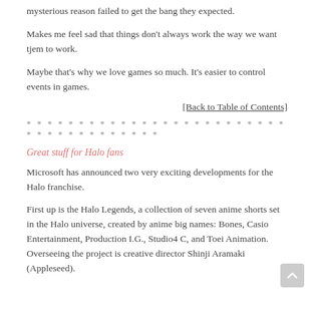mysterious reason failed to get the bang they expected.
Makes me feel sad that things don't always work the way we want tjem to work.
Maybe that's why we love games so much. It's easier to control events in games.
[Back to Table of Contents]
* * * * * * * * * * * * * * * * * * * * * * * * * * * * * * * * * * * * * *
Great stuff for Halo fans
Microsoft has announced two very exciting developments for the Halo franchise.
First up is the Halo Legends, a collection of seven anime shorts set in the Halo universe, created by anime big names: Bones, Casio Entertainment, Production I.G., Studio4 C, and Toei Animation. Overseeing the project is creative director Shinji Aramaki (Appleseed).